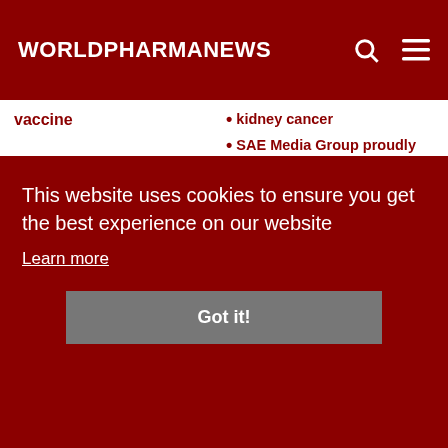WORLDPHARMANEWS
vaccine
kidney cancer
SAE Media Group proudly presents the 2nd Annual Aseptic Processing Conference
Pharma join together to achieve new standards in digital and patient innovation for clinical
Pain erence es the e erence
This website uses cookies to ensure you get the best experience on our website
Learn more
Got it!
Coast Conference